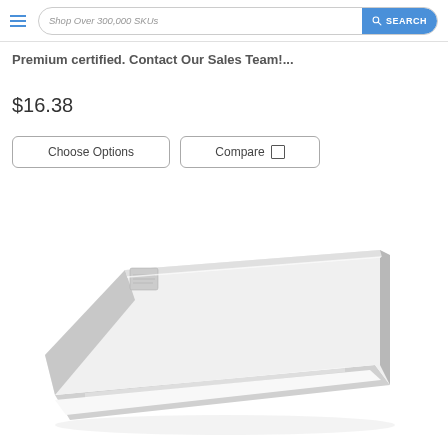Shop Over 300,000 SKUs  SEARCH
Premium certified. Contact Our Sales Team!...
$16.38
Choose Options   Compare
[Figure (photo): White rectangular LED light fixture (wraparound strip light) shown at an angle on a white background]